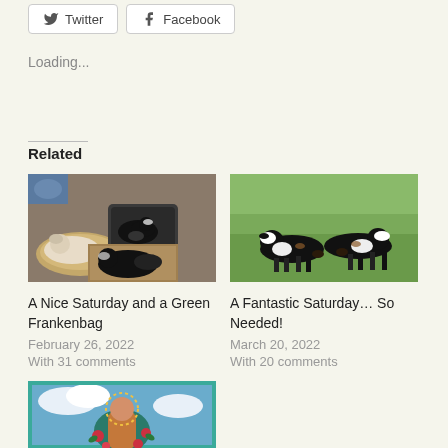Twitter  Facebook
Loading...
Related
[Figure (photo): Dogs lounging in pet beds indoors — multiple black and white dogs in fabric pet beds]
A Nice Saturday and a Green Frankenbag
February 26, 2022
With 31 comments
[Figure (photo): Two black and white border collies playing or sniffing each other on a green grass field]
A Fantastic Saturday… So Needed!
March 20, 2022
With 20 comments
[Figure (photo): Colorful quilt or tapestry with religious imagery — a figure resembling Our Lady of Guadalupe with flowers and blue sky background]